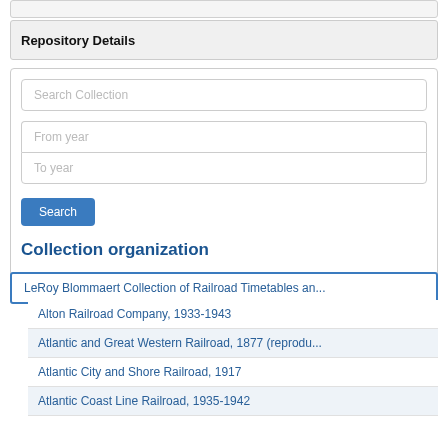Repository Details
Search Collection
From year
To year
Search
Collection organization
LeRoy Blommaert Collection of Railroad Timetables an...
Alton Railroad Company, 1933-1943
Atlantic and Great Western Railroad, 1877 (reprodu...
Atlantic City and Shore Railroad, 1917
Atlantic Coast Line Railroad, 1935-1942